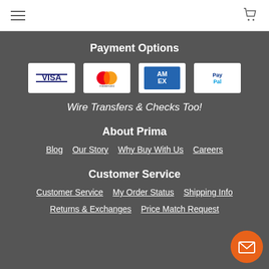Payment Options
[Figure (logo): Visa, Mastercard, American Express, and PayPal payment logos]
Wire Transfers & Checks Too!
About Prima
Blog
Our Story
Why Buy With Us
Careers
Customer Service
Customer Service
My Order Status
Shipping Info
Returns & Exchanges
Price Match Request